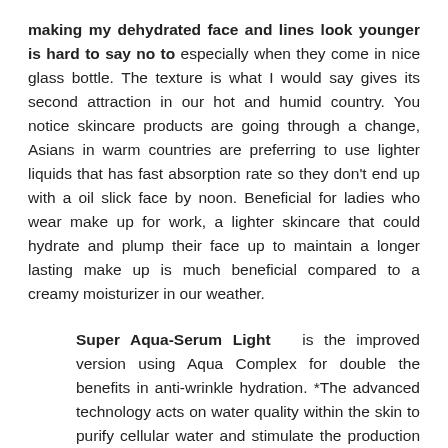making my dehydrated face and lines look younger is hard to say no to especially when they come in nice glass bottle. The texture is what I would say gives its second attraction in our hot and humid country. You notice skincare products are going through a change, Asians in warm countries are preferring to use lighter liquids that has fast absorption rate so they don't end up with a oil slick face by noon. Beneficial for ladies who wear make up for work, a lighter skincare that could hydrate and plump their face up to maintain a longer lasting make up is much beneficial compared to a creamy moisturizer in our weather.
Super Aqua-Serum Light is the improved version using Aqua Complex for double the benefits in anti-wrinkle hydration. *The advanced technology acts on water quality within the skin to purify cellular water and stimulate the production of collagen. Now in a lighter serum texture, the new formula re-launches hydration flows and restores youthfulness while filling the skin with pure and active water. Skin is left fresh,